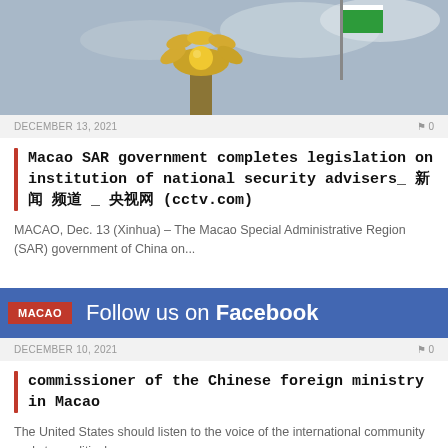[Figure (photo): Gold decorative lamp or torch ornament against a cloudy sky with a flag in background]
DECEMBER 13, 2021   0
Macao SAR government completes legislation on institution of national security advisers_ 新闻 频道 _ 央视网 (cctv.com)
MACAO, Dec. 13 (Xinhua) – The Macao Special Administrative Region (SAR) government of China on...
[Figure (screenshot): Facebook follow us banner with MACAO tag in red and blue Facebook background]
DECEMBER 10, 2021   0
commissioner of the Chinese foreign ministry in Macao
The United States should listen to the voice of the international community and stop political...